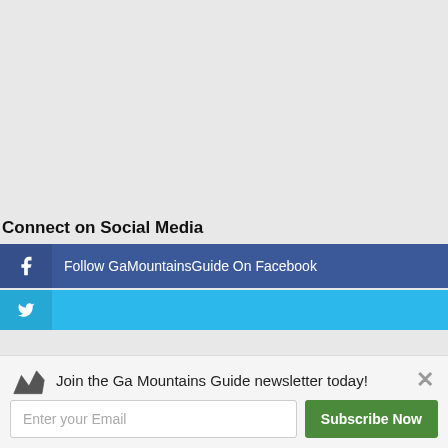Connect on Social Media
Follow GaMountainsGuide On Facebook
Join the Ga Mountains Guide newsletter today!
Enter your Email
Subscribe Now